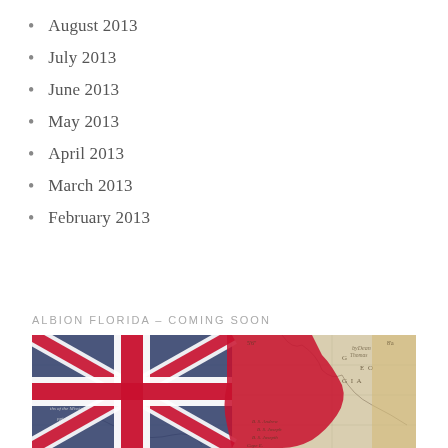August 2013
July 2013
June 2013
May 2013
April 2013
March 2013
February 2013
ALBION FLORIDA – COMING SOON
[Figure (photo): Historical map of Florida overlaid with a Union Jack (British flag) graphic, showing colonial-era cartography with handwritten place names including references to Georgia. The map has an aged parchment appearance with red and blue flag colors overlaid.]